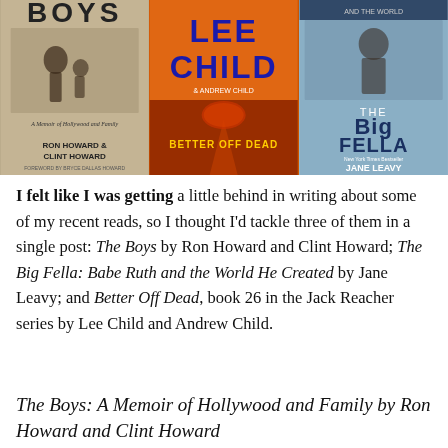[Figure (photo): Three book covers side by side: 'The Boys' by Ron Howard and Clint Howard, 'Better Off Dead' by Lee Child and Andrew Child, and 'The Big Fella' by Jane Leavy]
I felt like I was getting a little behind in writing about some of my recent reads, so I thought I'd tackle three of them in a single post: The Boys by Ron Howard and Clint Howard; The Big Fella: Babe Ruth and the World He Created by Jane Leavy; and Better Off Dead, book 26 in the Jack Reacher series by Lee Child and Andrew Child.
The Boys: A Memoir of Hollywood and Family by Ron Howard and Clint Howard